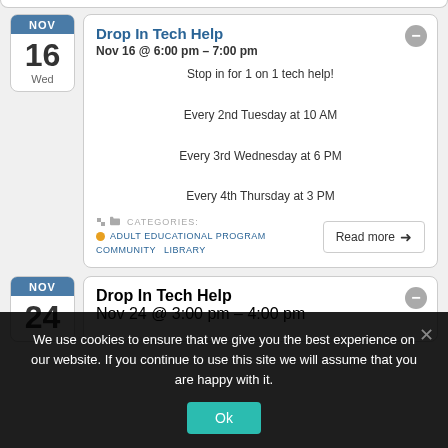[Figure (screenshot): Top partial white content bar from a webpage calendar listing]
Drop In Tech Help
Nov 16 @ 6:00 pm – 7:00 pm
Stop in for 1 on 1 tech help!
Every 2nd Tuesday at 10 AM
Every 3rd Wednesday at 6 PM
Every 4th Thursday at 3 PM
CATEGORIES: ADULT EDUCATIONAL PROGRAM  COMMUNITY  LIBRARY
Drop In Tech Help
Nov 24 @ 3:00 pm – 4:00 pm
We use cookies to ensure that we give you the best experience on our website. If you continue to use this site we will assume that you are happy with it.